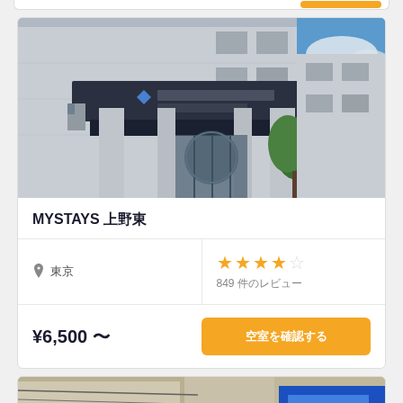[Figure (photo): Exterior photo of Hotel Mystays building entrance with dark signage reading HOTEL MYSTAYS, grey concrete facade, glass revolving doors, green trees, and blue sky]
MYSTAYS 上野東
東京
★★★★☆ 849 件のレビュー
¥6,500 〜
空室を確認する
[Figure (photo): Partial exterior photo of a second hotel listing at the bottom of the page]